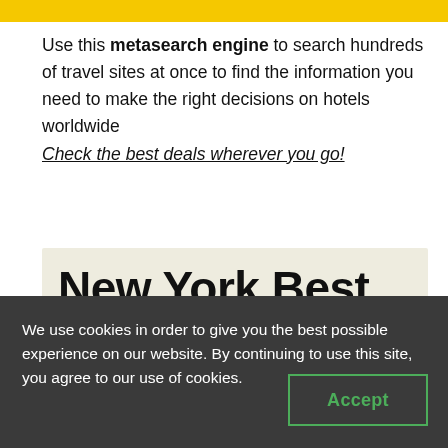Use this metasearch engine to search hundreds of travel sites at once to find the information you need to make the right decisions on hotels worldwide
Check the best deals wherever you go!
New York Best Things To Do
We use cookies in order to give you the best possible experience on our website. By continuing to use this site, you agree to our use of cookies.
Accept